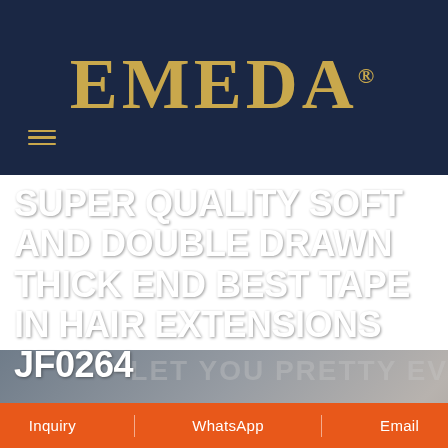[Figure (logo): EMEDA brand logo in gold/amber lettering on dark navy background with registered trademark symbol]
[Figure (photo): Background hero image showing hair extensions product, with watermark text 'LET YOU PRETTY EV' visible]
SUPER QUALITY SOFT AND DOUBLE DRAWN THICK END BEST TAPE IN HAIR EXTENSIONS JF0264
Inquiry   WhatsApp   Email